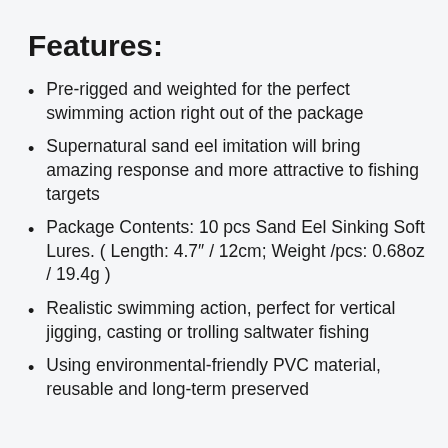Features:
Pre-rigged and weighted for the perfect swimming action right out of the package
Supernatural sand eel imitation will bring amazing response and more attractive to fishing targets
Package Contents: 10 pcs Sand Eel Sinking Soft Lures. ( Length: 4.7″ / 12cm; Weight /pcs: 0.68oz / 19.4g )
Realistic swimming action, perfect for vertical jigging, casting or trolling saltwater fishing
Using environmental-friendly PVC material, reusable and long-term preserved